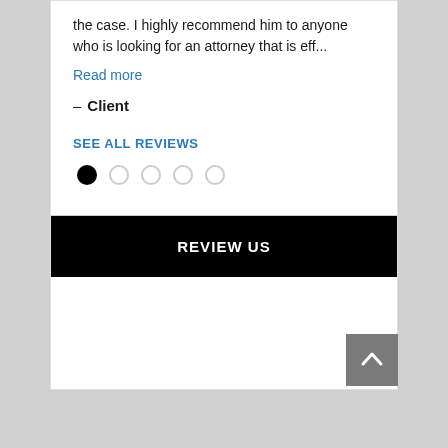the case. I highly recommend him to anyone who is looking for an attorney that is eff...
Read more
– Client
SEE ALL REVIEWS
[Figure (other): Carousel navigation dots: one filled black circle followed by four empty circles]
[Figure (other): Black button with white uppercase text REVIEW US]
[Figure (other): Grey scroll-to-top button with upward chevron arrow]